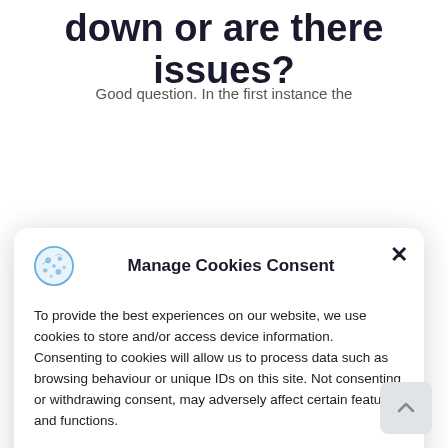down or are there issues?
Good question. In the first instance the
[Figure (screenshot): Manage Cookies Consent modal dialog with cookie icon, close button, consent text, Accept button (blue), Deny button, View preferences button, and Cookies / Privacy Policy links at bottom. A scroll-to-top arrow button appears at bottom right.]